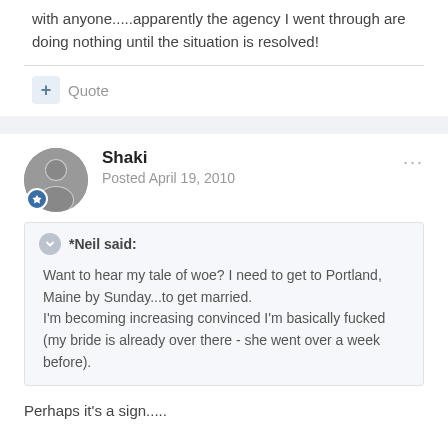with anyone.....apparently the agency I went through are doing nothing until the situation is resolved!
Shaki
Posted April 19, 2010
*Neil said:
Want to hear my tale of woe? I need to get to Portland, Maine by Sunday...to get married.
I'm becoming increasing convinced I'm basically fucked (my bride is already over there - she went over a week before).
Perhaps it's a sign.....